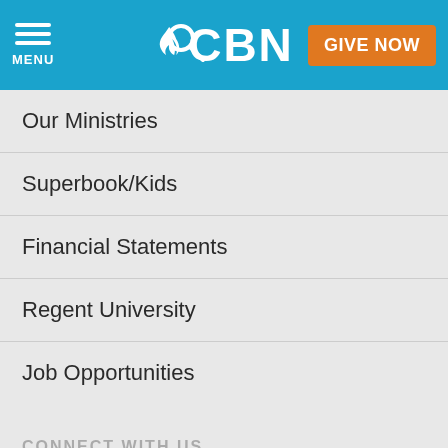[Figure (screenshot): CBN website navigation header with menu icon, search icon, CBN logo, and GIVE NOW button on a teal/blue background]
Our Ministries
Superbook/Kids
Financial Statements
Regent University
Job Opportunities
CONNECT WITH US
Contact Us
Email and Devotions Sign-Ups
Follow Us/Social
Mobile & Apps